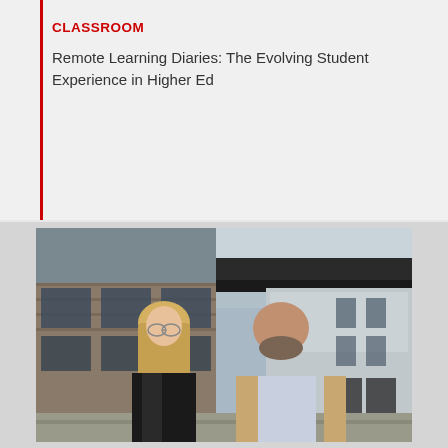CLASSROOM
Remote Learning Diaries: The Evolving Student Experience in Higher Ed
[Figure (photo): Two people, a woman with long blonde hair wearing a dark blazer and a man with a beard wearing a light tan suit jacket, standing outside in front of a modern building with brick and paneled exterior.]